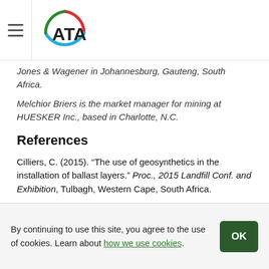ATA logo and navigation header
Jones & Wagener in Johannesburg, Gauteng, South Africa.
Melchior Briers is the market manager for mining at HUESKER Inc., based in Charlotte, N.C.
References
Cilliers, C. (2015). “The use of geosynthetics in the installation of ballast layers.” Proc., 2015 Landfill Conf. and Exhibition, Tulbagh, Western Cape, South Africa.
Department for Environment, Food and Rural Affairs. (2013). “Guidelines to DEFRA’s GHG conversion factors for company reporting.” London, U.K.
European Union Regulation (EU) No 305/2011. (2011). “Harmonised conditions for the marketing of construction
By continuing to use this site, you agree to the use of cookies. Learn about how we use cookies.